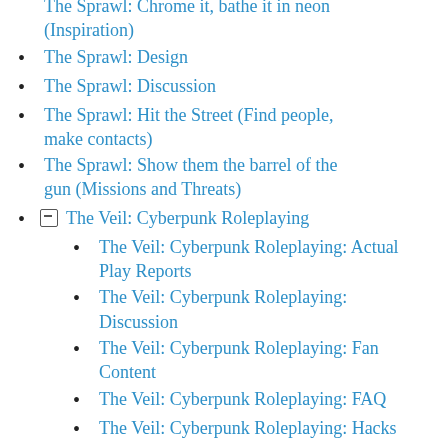The Sprawl: Chrome it, bathe it in neon (Inspiration)
The Sprawl: Design
The Sprawl: Discussion
The Sprawl: Hit the Street (Find people, make contacts)
The Sprawl: Show them the barrel of the gun (Missions and Threats)
The Veil: Cyberpunk Roleplaying
The Veil: Cyberpunk Roleplaying: Actual Play Reports
The Veil: Cyberpunk Roleplaying: Discussion
The Veil: Cyberpunk Roleplaying: Fan Content
The Veil: Cyberpunk Roleplaying: FAQ
The Veil: Cyberpunk Roleplaying: Hacks